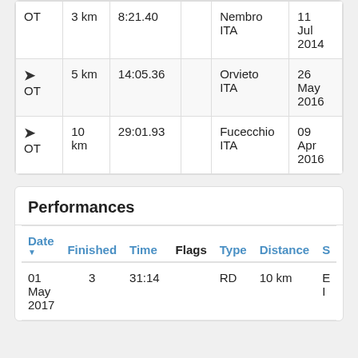|  | Distance | Time | Flags | Location | Date |
| --- | --- | --- | --- | --- | --- |
| OT | 3 km | 8:21.40 |  | Nembro ITA | 11 Jul 2014 |
| ➤ OT | 5 km | 14:05.36 |  | Orvieto ITA | 26 May 2016 |
| ➤ OT | 10 km | 29:01.93 |  | Fucecchio ITA | 09 Apr 2016 |
Performances
| Date ▼ | Finished | Time | Flags | Type | Distance | S |
| --- | --- | --- | --- | --- | --- | --- |
| 01 May 2017 | 3 | 31:14 |  | RD | 10 km | E I |